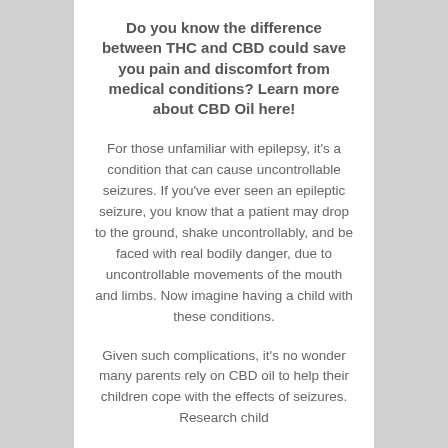Do you know the difference between THC and CBD could save you pain and discomfort from medical conditions? Learn more about CBD Oil here!
For those unfamiliar with epilepsy, it's a condition that can cause uncontrollable seizures. If you've ever seen an epileptic seizure, you know that a patient may drop to the ground, shake uncontrollably, and be faced with real bodily danger, due to uncontrollable movements of the mouth and limbs. Now imagine having a child with these conditions.
Given such complications, it's no wonder many parents rely on CBD oil to help their children cope with the effects of seizures. Research child...